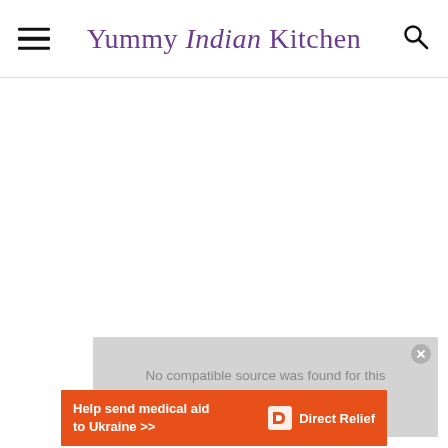Yummy Indian Kitchen
[Figure (other): Large white blank area — image/video placeholder in page body]
No compatible source was found for this media.
Help send medical aid to Ukraine >> Direct Relief